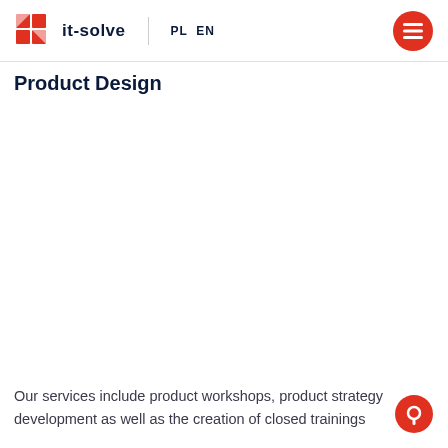it-solve | PL EN
Product Design
Our services include product workshops, product strategy development as well as the creation of closed trainings